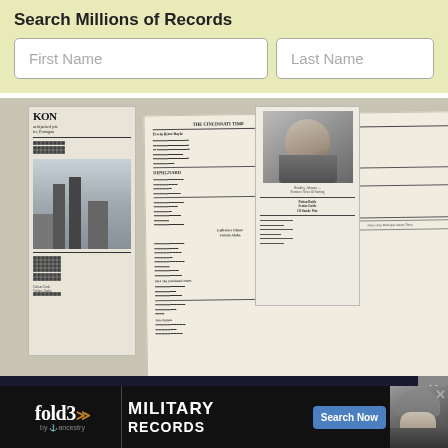Search Millions of Records
First Name
Last Name
[Figure (photo): Collage of historical newspaper front pages and document scans arranged overlapping]
The Largest Online Newspaper Archive
[Figure (photo): fold3 by Ancestry advertisement banner: MILITARY RECORDS with Search Now button and soldier photo]